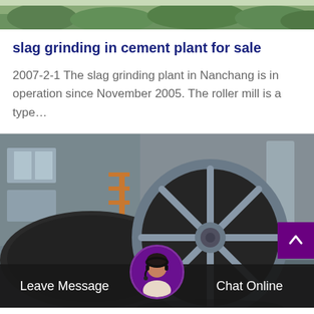[Figure (photo): Top partial image of industrial plant or outdoor scene with trees/foliage, partially cut off at top of page]
slag grinding in cement plant for sale
2007-2-1 The slag grinding plant in Nanchang is in operation since November 2005. The roller mill is a type…
[Figure (photo): Large industrial grinding mill or roller wheel in a cement plant facility, dark metallic spoked wheel inside industrial building]
[Figure (photo): Customer service representative avatar circle with headset, used for live chat widget in bottom bar]
Leave Message
Chat Online